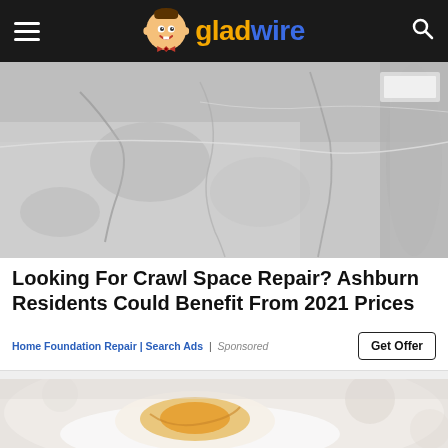gladwire
[Figure (photo): Close-up photo of a crawl space showing a concrete/stone foundation wall with moisture damage, cracks, and a visible pipe or duct along the right side. Grayscale/monochrome tones.]
Looking For Crawl Space Repair? Ashburn Residents Could Benefit From 2021 Prices
Home Foundation Repair | Search Ads | Sponsored
[Figure (photo): Close-up photo of food — appears to be a poached or soft-boiled egg on a white plate, partially cut open showing yolk. Warm tones, blurred background.]